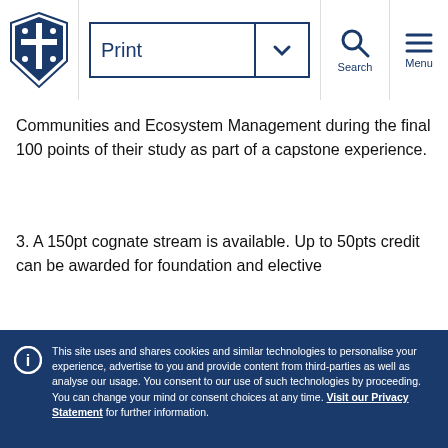Print | Search | Menu — University of Melbourne header
Communities and Ecosystem Management during the final 100 points of their study as part of a capstone experience.
3. A 150pt cognate stream is available. Up to 50pts credit can be awarded for foundation and elective
This site uses and shares cookies and similar technologies to personalise your experience, advertise to you and provide content from third-parties as well as analyse our usage. You consent to our use of such technologies by proceeding. You can change your mind or consent choices at any time. Visit our Privacy Statement for further information.
Accept cookies | Cookie Preferences